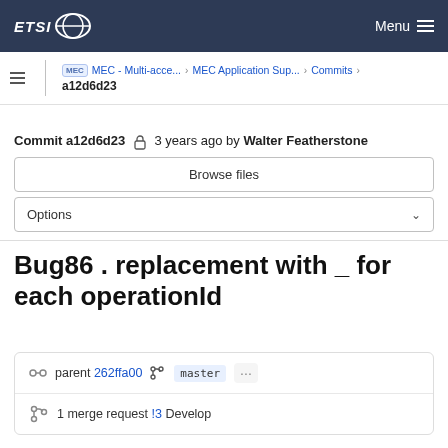ETSI — Menu
MEC - Multi-acce... > MEC Application Sup... > Commits > a12d6d23
Commit a12d6d23  3 years ago by Walter Featherstone
Browse files
Options
Bug86 . replacement with _ for each operationId
parent 262ffa00  master  ...
1 merge request !3 Develop